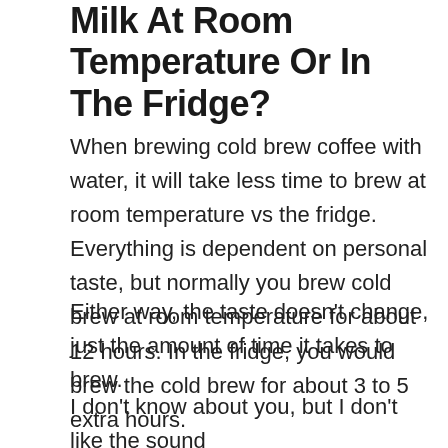Milk At Room Temperature Or In The Fridge?
When brewing cold brew coffee with water, it will take less time to brew at room temperature vs the fridge. Everything is dependent on personal taste, but normally you brew cold brew at room temperature for about 12 hours. In the fridge, you would brew the cold brew for about 3 to 5 extra hours.
Either way, the taste doesn't change, just the amount of time it takes to brew.
I don't know about you, but I don't like the sound of brewing it more than enough of the...